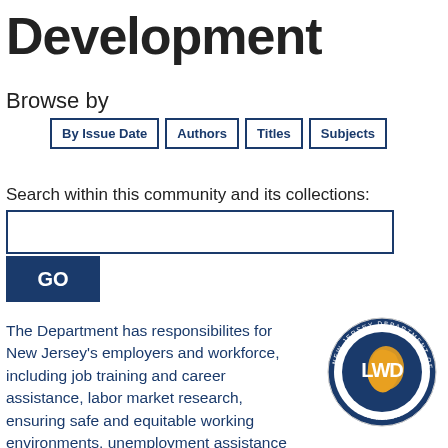Development
Browse by
By Issue Date
Authors
Titles
Subjects
Search within this community and its collections:
[Figure (logo): New Jersey Department of Labor and Workforce Development circular seal with LWD monogram and NJ state shape in gold]
The Department has responsibilites for New Jersey's employers and workforce, including job training and career assistance, labor market research, ensuring safe and equitable working environments, unemployment assistance and family leave administration, li...